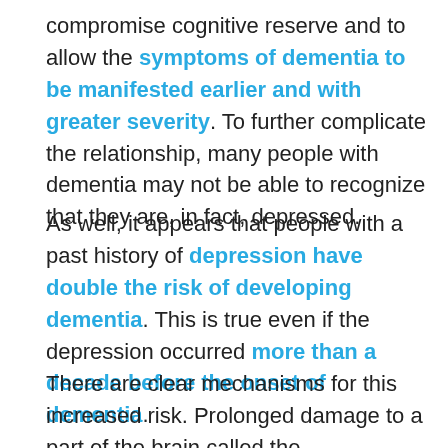compromise cognitive reserve and to allow the symptoms of dementia to be manifested earlier and with greater severity. To further complicate the relationship, many people with dementia may not be able to recognize that they are, in fact, depressed.
As well, it appears that people with a past history of depression have double the risk of developing dementia. This is true even if the depression occurred more than a decade before the onset of dementia.
There are clear mechanisms for this increased risk. Prolonged damage to a part of the brain called the hippocampus, a finding linked to depression, has